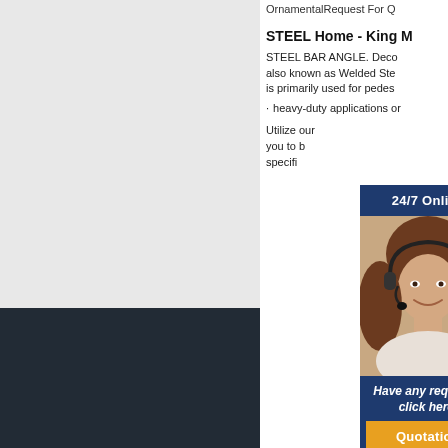OrnamentalRequest For Q
STEEL Home - King M
STEEL BAR ANGLE. Deco also known as Welded Ste is primarily used for pedes
heavy-duty applications or
Utilize our... you to b... specifi...
[Figure (photo): Customer service representative woman wearing headset smiling, shown in a popup widget with navy blue background, labeled 24/7 Online with Have any requests, click here text and a Quotation button]
HOME  Addr...